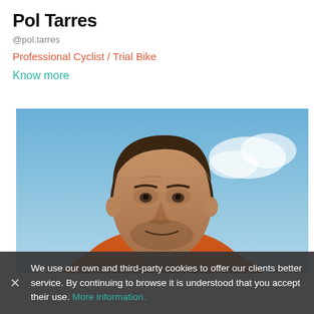Pol Tarres
@pol.tarres
Professional Cyclist / Trial Bike
Know more
[Figure (photo): Portrait photo of Pol Tarres, a middle-aged man with short dark hair and a beard, wearing an orange jacket, photographed against a blue sky with clouds.]
We use our own and third-party cookies to offer our clients better service. By continuing to browse it is understood that you accept their use. More information.